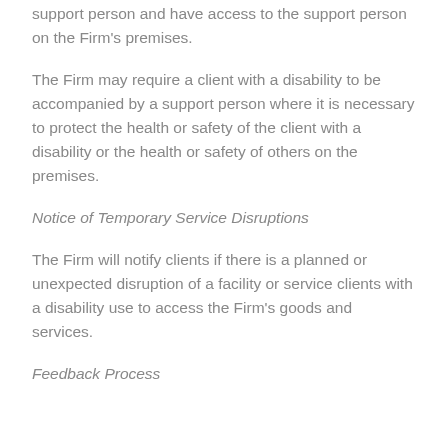support person and have access to the support person on the Firm's premises.
The Firm may require a client with a disability to be accompanied by a support person where it is necessary to protect the health or safety of the client with a disability or the health or safety of others on the premises.
Notice of Temporary Service Disruptions
The Firm will notify clients if there is a planned or unexpected disruption of a facility or service clients with a disability use to access the Firm's goods and services.
Feedback Process